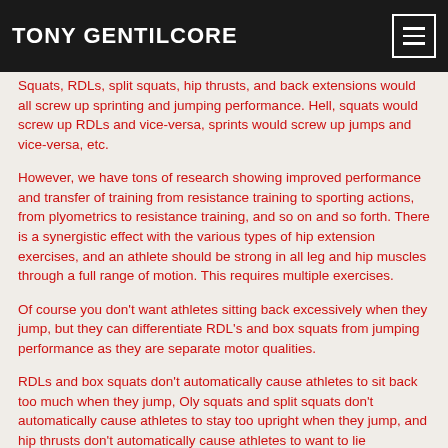TONY GENTILCORE
Squats, RDLs, split squats, hip thrusts, and back extensions would all screw up sprinting and jumping performance. Hell, squats would screw up RDLs and vice-versa, sprints would screw up jumps and vice-versa, etc.
However, we have tons of research showing improved performance and transfer of training from resistance training to sporting actions, from plyometrics to resistance training, and so on and so forth. There is a synergistic effect with the various types of hip extension exercises, and an athlete should be strong in all leg and hip muscles through a full range of motion. This requires multiple exercises.
Of course you don't want athletes sitting back excessively when they jump, but they can differentiate RDL's and box squats from jumping performance as they are separate motor qualities.
RDLs and box squats don't automatically cause athletes to sit back too much when they jump, Oly squats and split squats don't automatically cause athletes to stay too upright when they jump, and hip thrusts don't automatically cause athletes to want to lie...